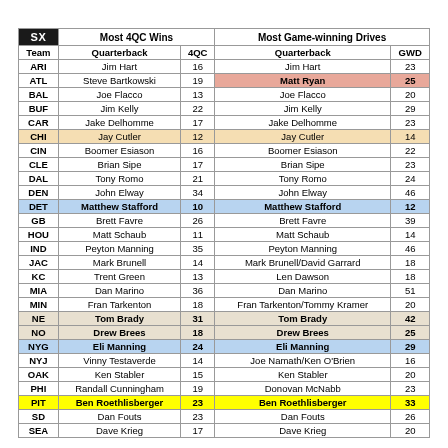| SX | Most 4QC Wins (Quarterback) | 4QC | Most Game-winning Drives (Quarterback) | GWD |
| --- | --- | --- | --- | --- |
| Team | Quarterback | 4QC | Quarterback | GWD |
| ARI | Jim Hart | 16 | Jim Hart | 23 |
| ATL | Steve Bartkowski | 19 | Matt Ryan | 25 |
| BAL | Joe Flacco | 13 | Joe Flacco | 20 |
| BUF | Jim Kelly | 22 | Jim Kelly | 29 |
| CAR | Jake Delhomme | 17 | Jake Delhomme | 23 |
| CHI | Jay Cutler | 12 | Jay Cutler | 14 |
| CIN | Boomer Esiason | 16 | Boomer Esiason | 22 |
| CLE | Brian Sipe | 17 | Brian Sipe | 23 |
| DAL | Tony Romo | 21 | Tony Romo | 24 |
| DEN | John Elway | 34 | John Elway | 46 |
| DET | Matthew Stafford | 10 | Matthew Stafford | 12 |
| GB | Brett Favre | 26 | Brett Favre | 39 |
| HOU | Matt Schaub | 11 | Matt Schaub | 14 |
| IND | Peyton Manning | 35 | Peyton Manning | 46 |
| JAC | Mark Brunell | 14 | Mark Brunell/David Garrard | 18 |
| KC | Trent Green | 13 | Len Dawson | 18 |
| MIA | Dan Marino | 36 | Dan Marino | 51 |
| MIN | Fran Tarkenton | 18 | Fran Tarkenton/Tommy Kramer | 20 |
| NE | Tom Brady | 31 | Tom Brady | 42 |
| NO | Drew Brees | 18 | Drew Brees | 25 |
| NYG | Eli Manning | 24 | Eli Manning | 29 |
| NYJ | Vinny Testaverde | 14 | Joe Namath/Ken O'Brien | 16 |
| OAK | Ken Stabler | 15 | Ken Stabler | 20 |
| PHI | Randall Cunningham | 19 | Donovan McNabb | 23 |
| PIT | Ben Roethlisberger | 23 | Ben Roethlisberger | 33 |
| SD | Dan Fouts | 23 | Dan Fouts | 26 |
| SEA | Dave Krieg | 17 | Dave Krieg | 20 |